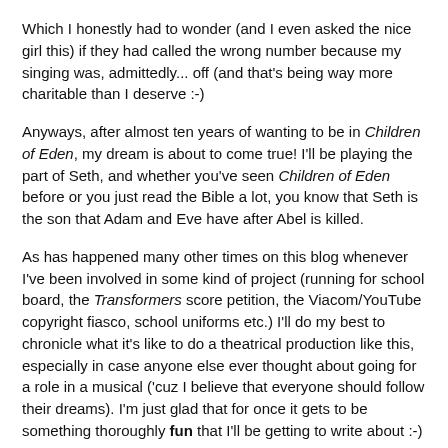Which I honestly had to wonder (and I even asked the nice girl this) if they had called the wrong number because my singing was, admittedly... off (and that's being way more charitable than I deserve :-)
Anyways, after almost ten years of wanting to be in Children of Eden, my dream is about to come true! I'll be playing the part of Seth, and whether you've seen Children of Eden before or you just read the Bible a lot, you know that Seth is the son that Adam and Eve have after Abel is killed.
As has happened many other times on this blog whenever I've been involved in some kind of project (running for school board, the Transformers score petition, the Viacom/YouTube copyright fiasco, school uniforms etc.) I'll do my best to chronicle what it's like to do a theatrical production like this, especially in case anyone else ever thought about going for a role in a musical ('cuz I believe that everyone should follow their dreams). I'm just glad that for once it gets to be something thoroughly fun that I'll be getting to write about :-)
Okay, I'm off to celebrate. Starting with playing "Generations" from the Children of Eden soundtrack full-blast on our stereo system!
(And thanks to everyone who wished me luck and even kept me in